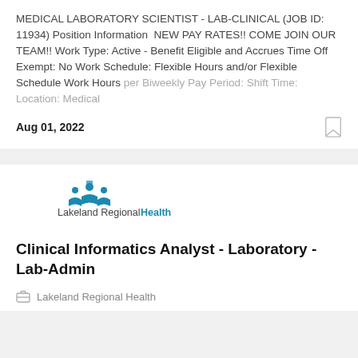MEDICAL LABORATORY SCIENTIST - LAB-CLINICAL (JOB ID: 11934) Position Information  NEW PAY RATES!! COME JOIN OUR TEAM!! Work Type: Active - Benefit Eligible and Accrues Time Off Exempt: No Work Schedule: Flexible Hours and/or Flexible Schedule Work Hours per Biweekly Pay Period: Shift Time: Location: Medical
Aug 01, 2022
[Figure (logo): Lakeland Regional Health logo with blue icon and text]
Clinical Informatics Analyst - Laboratory - Lab-Admin
Lakeland Regional Health